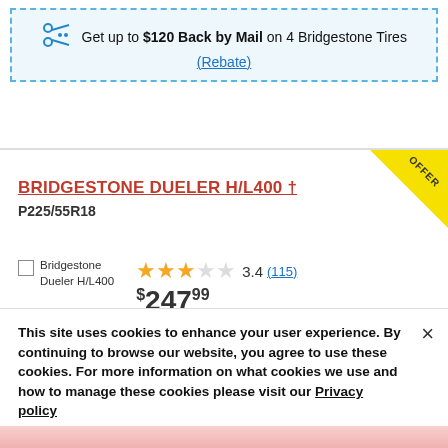Get up to $120 Back by Mail on 4 Bridgestone Tires (Rebate)
BRIDGESTONE DUELER H/L400 † P225/55R18
[Figure (other): OFFER corner badge in yellow]
Bridgestone Dueler H/L400
3.4 (115) $247.99
This site uses cookies to enhance your user experience. By continuing to browse our website, you agree to use these cookies. For more information on what cookies we use and how to manage these cookies please visit our Privacy policy
OK